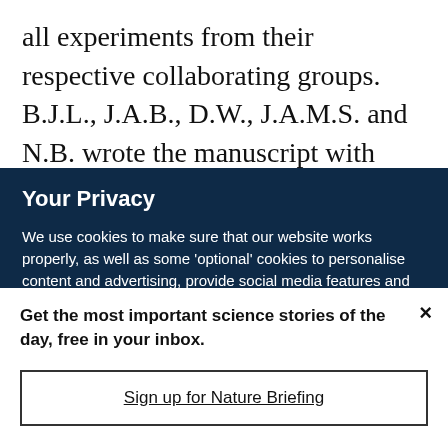all experiments from their respective collaborating groups. B.J.L., J.A.B., D.W., J.A.M.S. and N.B. wrote the manuscript with input from all
Your Privacy
We use cookies to make sure that our website works properly, as well as some ‘optional’ cookies to personalise content and advertising, provide social media features and analyse how people use our site. By accepting some or all optional cookies you give consent to the processing of your personal data, including transfer to third parties, some in countries outside of the European Economic Area that do not offer the same data protection standards as the country where you live. You can decide which optional cookies to accept by clicking on ‘Manage Settings’, where you can
Get the most important science stories of the day, free in your inbox.
Sign up for Nature Briefing